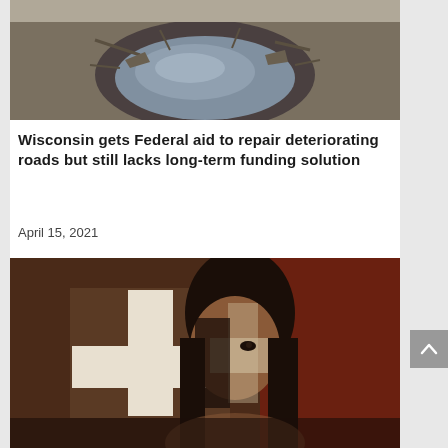[Figure (photo): Close-up photo of a damaged road with a large pothole filled with water, showing cracked asphalt around it]
Wisconsin gets Federal aid to repair deteriorating roads but still lacks long-term funding solution
April 15, 2021
[Figure (photo): Portrait photo of a young woman with long dark hair, with a white cross/flag projected or overlaid on her face and upper body against a dark reddish-brown background]